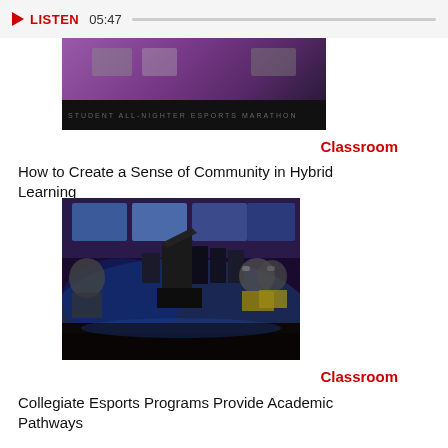LISTEN  05:47
[Figure (photo): Partial cropped image of a gaming/esports event with purple lighting and dark overlay with text]
Classroom
How to Create a Sense of Community in Hybrid Learning
[Figure (photo): Esports gaming lab with students at computers, blue and purple lighting, rows of gaming monitors and chairs]
Classroom
Collegiate Esports Programs Provide Academic Pathways